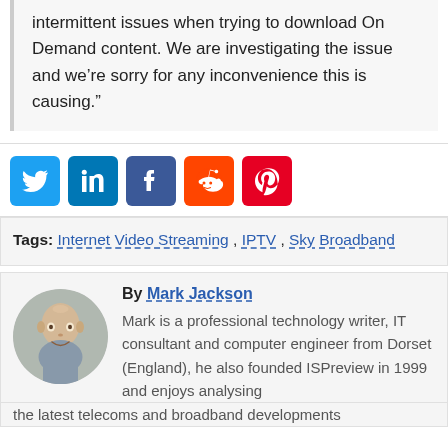intermittent issues when trying to download On Demand content. We are investigating the issue and we’re sorry for any inconvenience this is causing.”
[Figure (other): Social media share icons: Twitter, LinkedIn, Facebook, Reddit, Pinterest]
Tags: Internet Video Streaming , IPTV , Sky Broadband
By Mark Jackson
Mark is a professional technology writer, IT consultant and computer engineer from Dorset (England), he also founded ISPreview in 1999 and enjoys analysing the latest telecoms and broadband developments
[Figure (photo): Circular headshot photo of Mark Jackson, a bald man smiling, wearing a grey shirt]